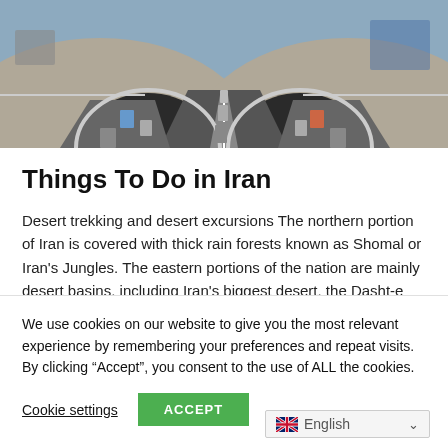[Figure (photo): Aerial view of a highway tunnel entrance with multiple lanes of traffic and arched tunnel portal, symmetric layout with cars driving in and out.]
Things To Do in Iran
Desert trekking and desert excursions The northern portion of Iran is covered with thick rain forests known as Shomal or Iran's Jungles. The eastern portions of the nation are mainly desert basins, including Iran's biggest desert, the Dasht-e
We use cookies on our website to give you the most relevant experience by remembering your preferences and repeat visits. By clicking “Accept”, you consent to the use of ALL the cookies.
Cookie settings
ACCEPT
English